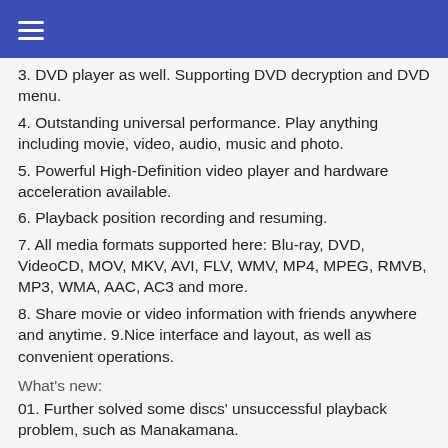☰
3. DVD player as well. Supporting DVD decryption and DVD menu.
4. Outstanding universal performance. Play anything including movie, video, audio, music and photo.
5. Powerful High-Definition video player and hardware acceleration available.
6. Playback position recording and resuming.
7. All media formats supported here: Blu-ray, DVD, VideoCD, MOV, MKV, AVI, FLV, WMV, MP4, MPEG, RMVB, MP3, WMA, AAC, AC3 and more.
8. Share movie or video information with friends anywhere and anytime. 9.Nice interface and layout, as well as convenient operations.
What's new:
01. Further solved some discs' unsuccessful playback problem, such as Manakamana.